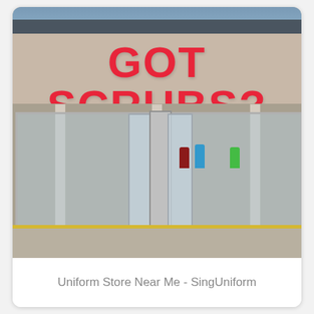[Figure (photo): Exterior photo of a retail store with large red letters reading 'GOT SCRUBS?' on the facade. Store has large display windows showing scrubs/uniforms on display, glass double doors in the center, and a parking lot visible in the background.]
Uniform Store Near Me - SingUniform